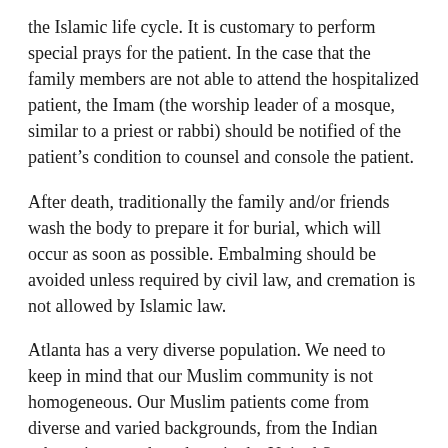the Islamic life cycle. It is customary to perform special prays for the patient. In the case that the family members are not able to attend the hospitalized patient, the Imam (the worship leader of a mosque, similar to a priest or rabbi) should be notified of the patient’s condition to counsel and console the patient.
After death, traditionally the family and/or friends wash the body to prepare it for burial, which will occur as soon as possible. Embalming should be avoided unless required by civil law, and cremation is not allowed by Islamic law.
Atlanta has a very diverse population. We need to keep in mind that our Muslim community is not homogeneous. Our Muslim patients come from diverse and varied backgrounds, from the Indian subcontinent to those born in the United States.
Keep in mind that...